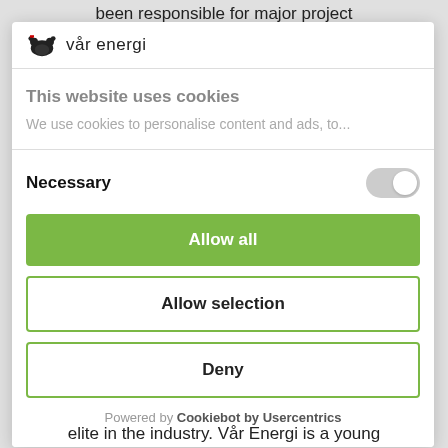been responsible for major project
[Figure (logo): Vår Energi logo with bear icon and text 'vår energi']
This website uses cookies
We use cookies to personalise content and ads, to...
Necessary
Allow all
Allow selection
Deny
Powered by Cookiebot by Usercentrics
elite in the industry. Vår Energi is a young